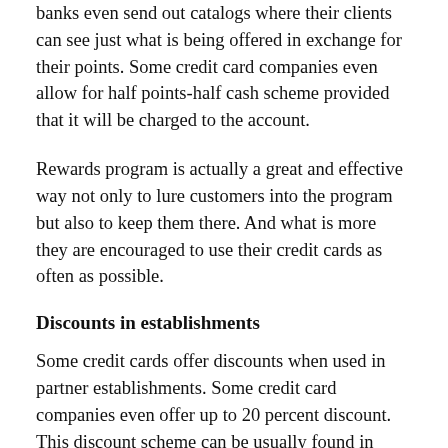banks even send out catalogs where their clients can see just what is being offered in exchange for their points. Some credit card companies even allow for half points-half cash scheme provided that it will be charged to the account.
Rewards program is actually a great and effective way not only to lure customers into the program but also to keep them there. And what is more they are encouraged to use their credit cards as often as possible.
Discounts in establishments
Some credit cards offer discounts when used in partner establishments. Some credit card companies even offer up to 20 percent discount. This discount scheme can be usually found in credit cards that target a specific niche market. For instance, if a credit card company hopes to target the young professionals, they would partner